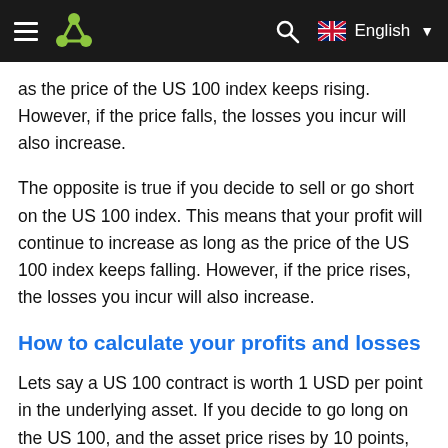≡ [logo] [search] 🇬🇧 English ▼
as the price of the US 100 index keeps rising. However, if the price falls, the losses you incur will also increase.
The opposite is true if you decide to sell or go short on the US 100 index. This means that your profit will continue to increase as long as the price of the US 100 index keeps falling. However, if the price rises, the losses you incur will also increase.
How to calculate your profits and losses
Lets say a US 100 contract is worth 1 USD per point in the underlying asset. If you decide to go long on the US 100, and the asset price rises by 10 points, that represents a 10 USD profit for you